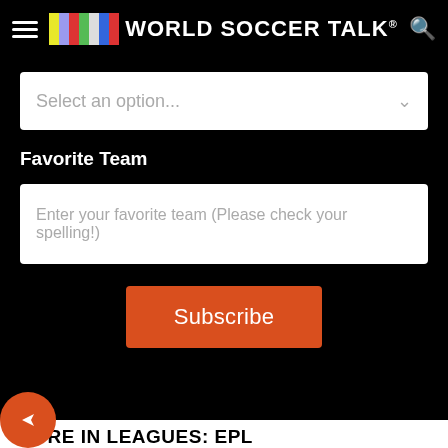World Soccer Talk
Select an option...
Favorite Team
Enter your favorite team (Please check your spelling!)
Subscribe
MORE IN LEAGUES: EPL
West Ham sign Lyon midfielder Paqueta for ‘club record’ fee